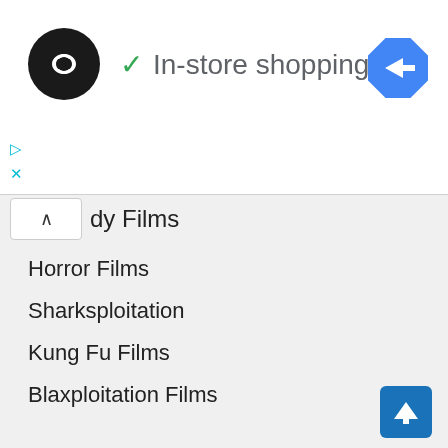[Figure (logo): Black circle logo with white infinity/link symbol]
✓ In-store shopping
[Figure (illustration): Blue diamond navigation arrow icon]
▷
✕
dy Films
Horror Films
Sharksploitation
Kung Fu Films
Blaxploitation Films
Celebrities
Actresses
Actors
Filmmakers & Studios